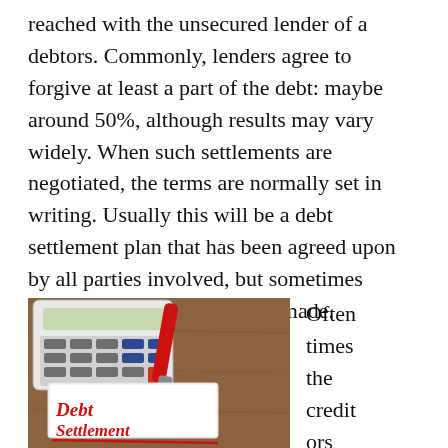reached with the unsecured lender of a debtors. Commonly, lenders agree to forgive at least a part of the debt: maybe around 50%, although results may vary widely. When such settlements are negotiated, the terms are normally set in writing. Usually this will be a debt settlement plan that has been agreed upon by all parties involved, but sometimes separate agreements may be made.
[Figure (photo): Photo of a calculator and red marker pen on a wooden desk, with a handwritten note reading 'Debt Settlement' in red cursive on white paper.]
Oftentimes the creditors accept